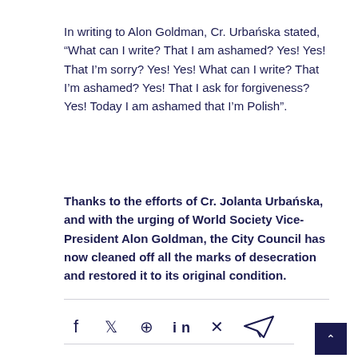In writing to Alon Goldman, Cr. Urbańska stated, “What can I write? That I am ashamed? Yes! Yes! That I’m sorry? Yes! Yes! What can I write? That I’m ashamed? Yes! That I ask for forgiveness? Yes! Today I am ashamed that I’m Polish”.
Thanks to the efforts of Cr. Jolanta Urbańska, and with the urging of World Society Vice-President Alon Goldman, the City Council has now cleaned off all the marks of desecration and restored it to its original condition.
[Figure (other): Social media share icons: Facebook, Twitter, Pinterest, LinkedIn, Xing, Telegram]